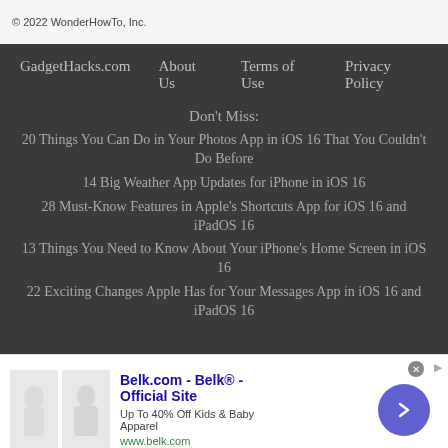© 2022 WonderHowTo, Inc.
GadgetHacks.com   About Us   Terms of Use   Privacy Policy
Don't Miss:
20 Things You Can Do in Your Photos App in iOS 16 That You Couldn't Do Before
14 Big Weather App Updates for iPhone in iOS 16
28 Must-Know Features in Apple's Shortcuts App for iOS 16 and iPadOS 16
13 Things You Need to Know About Your iPhone's Home Screen in iOS 16
22 Exciting Changes Apple Has for Your Messages App in iOS 16 and iPadOS 16
[Figure (infographic): Advertisement banner for Belk.com showing kids apparel images, title 'Belk.com - Belk® - Official Site', subtitle 'Up To 40% Off Kids & Baby Apparel', url 'www.belk.com', and a blue circular arrow button]